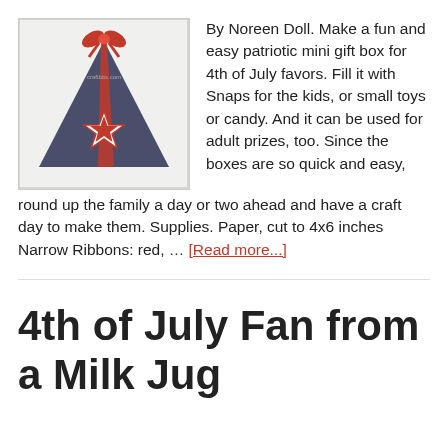[Figure (photo): A triangular dark blue/navy paper gift box with a red ribbon bow at the top and a red/white star decoration on the front, on a light background. Watermark text visible.]
By Noreen Doll. Make a fun and easy patriotic mini gift box for 4th of July favors. Fill it with Snaps for the kids, or small toys or candy. And it can be used for adult prizes, too. Since the boxes are so quick and easy, round up the family a day or two ahead and have a craft day to make them. Supplies. Paper, cut to 4x6 inches Narrow Ribbons: red, … [Read more...]
4th of July Fan from a Milk Jug